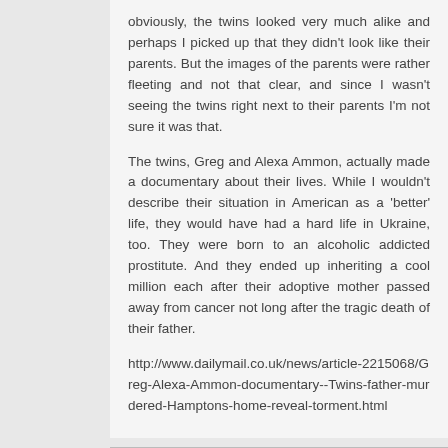obviously, the twins looked very much alike and perhaps I picked up that they didn't look like their parents. But the images of the parents were rather fleeting and not that clear, and since I wasn't seeing the twins right next to their parents I'm not sure it was that.
The twins, Greg and Alexa Ammon, actually made a documentary about their lives. While I wouldn't describe their situation in American as a 'better' life, they would have had a hard life in Ukraine, too. They were born to an alcoholic addicted prostitute. And they ended up inheriting a cool million each after their adoptive mother passed away from cancer not long after the tragic death of their father.
http://www.dailymail.co.uk/news/article-2215068/Greg-Alexa-Ammon-documentary--Twins-father-murdered-Hamptons-home-reveal-torment.html